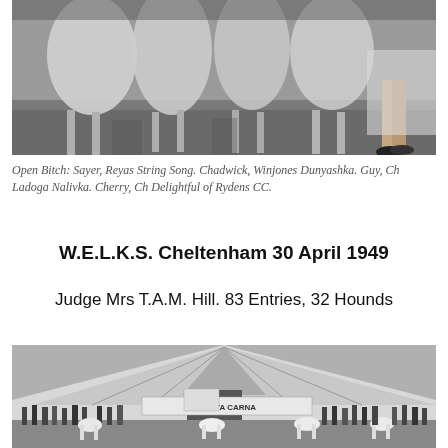[Figure (photo): Black and white photograph showing dogs (likely Borzoi/Russian Wolfhounds) being shown at a dog show, with handlers' legs and feet visible, taken from a low angle on grass.]
Open Bitch: Sayer, Reyas String Song. Chadwick, Winjones Dunyashka. Guy, Ch Ladoga Nalivka. Cherry, Ch Delightful of Rydens CC.
W.E.L.K.S. Cheltenham 30 April 1949
Judge Mrs T.A.M. Hill. 83 Entries, 32 Hounds
[Figure (photo): Black and white photograph of a dog show at an outdoor venue with a large tent/marquee. A banner reading 'CARTA CARNA' is visible. Handlers and dogs (Borzoi/Russian Wolfhounds) are lined up in front of the tent with spectators in the background.]